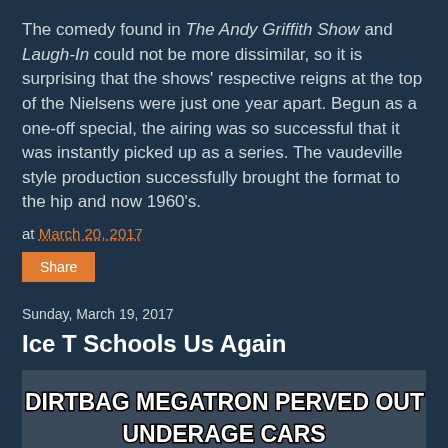The comedy found in The Andy Griffith Show and Laugh-In could not be more dissimilar, so it is surprising that the shows' respective reigns at the top of the Nielsens were just one year apart. Begun as a one-off special, the airing was so successful that it was instantly picked up as a series. The vaudeville style production successfully brought the format to the hip and now 1960's.
at March 20, 2017
Share
Sunday, March 19, 2017
Ice T Schools Us Again
[Figure (photo): Meme image with white bold text reading 'THAT DIRTBAG MEGATRON PERVED OUT WITH UNDERAGE CARS' overlaid on a photo of a man's face at the bottom]